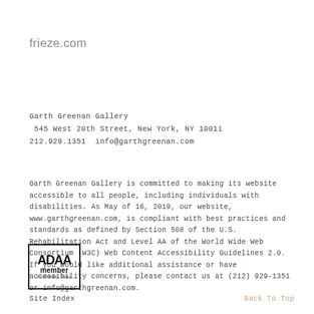frieze.com
Garth Greenan Gallery
 545 West 20th Street, New York, NY 10011
212.929.1351  info@garthgreenan.com
Garth Greenan Gallery is committed to making its website accessible to all people, including individuals with disabilities. As May of 16, 2019, our website, www.garthgreenan.com, is compliant with best practices and standards as defined by Section 508 of the U.S. Rehabilitation Act and Level AA of the World Wide Web Consortium (W3C) Web Content Accessibility Guidelines 2.0. If you would like additional assistance or have accessibility concerns, please contact us at (212) 929-1351 or info@garthgreenan.com.
[Figure (logo): ADAA member logo — black border rectangle with bold ADAA text and 'member' below, with 'FOUNDED 1962' in small text]
Site Index
Back To Top